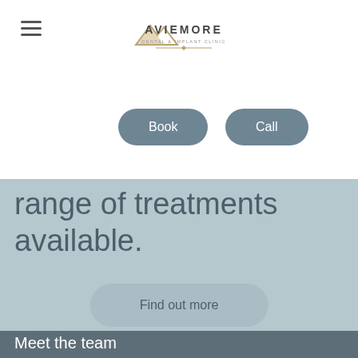[Figure (logo): Aviemore Dental & Implant Clinic logo with mountain icon, gold text and decorative line]
Book
Call
range of treatments available.
Find out more
Meet the team